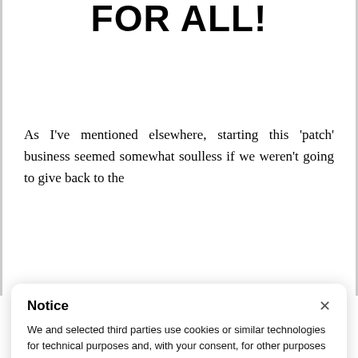FOR ALL!
As I've mentioned elsewhere, starting this 'patch' business seemed somewhat soulless if we weren't going to give back to the
Notice
We and selected third parties use cookies or similar technologies for technical purposes and, with your consent, for other purposes as specified in the cookie policy. Denying consent may make related features unavailable.
Use the "Accept" button or close this notice to consent to the use of such technologies.
Accept
Learn more and customize